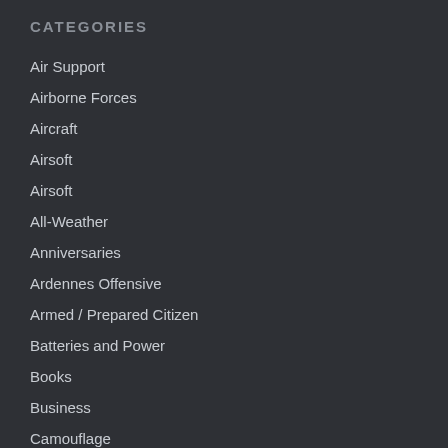CATEGORIES
Air Support
Airborne Forces
Aircraft
Airsoft
Airsoft
All-Weather
Anniversaries
Ardennes Offensive
Armed / Prepared Citizen
Batteries and Power
Books
Business
Camouflage